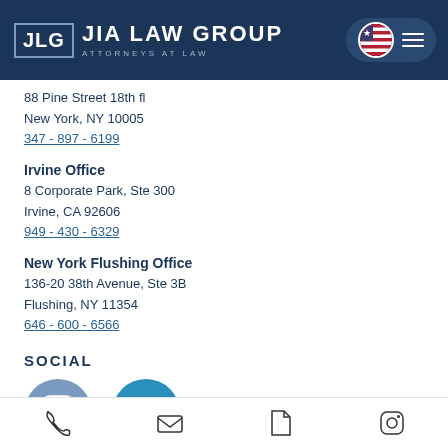[Figure (logo): JLG Jia Law Group logo with 'Attorneys at Law' subtitle on dark navy background with navigation toggle]
88 Pine Street 18th fl
New York, NY 10005
347 - 897 - 6199
Irvine Office
8 Corporate Park, Ste 300
Irvine, CA 92606
949 - 430 - 6329
New York Flushing Office
136-20 38th Avenue, Ste 3B
Flushing, NY 11354
646 - 600 - 6566
SOCIAL
[Figure (illustration): Instagram icon (grey circle with camera symbol) and LinkedIn icon (teal circle with 'in' text)]
[Figure (illustration): Bottom navigation bar with phone, email, document, and Instagram icons]